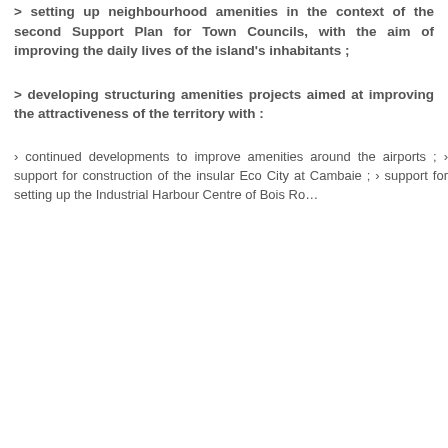> setting up neighbourhood amenities in the context of the second Support Plan for Town Councils, with the aim of improving the daily lives of the island's inhabitants ;
> developing structuring amenities projects aimed at improving the attractiveness of the territory with :
› continued developments to improve amenities around the airports ; › support for construction of the insular Eco City at Cambaie ; › support for setting up the Industrial Harbour Centre of Bois Ro…